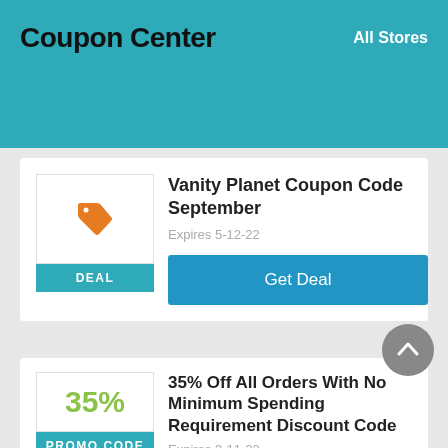Coupon Center | All Stores
Vanity Planet Coupon Code September
Expires 5-12-22
Get Deal
35% Off All Orders With No Minimum Spending Requirement Discount Code
Expires 3-11-22